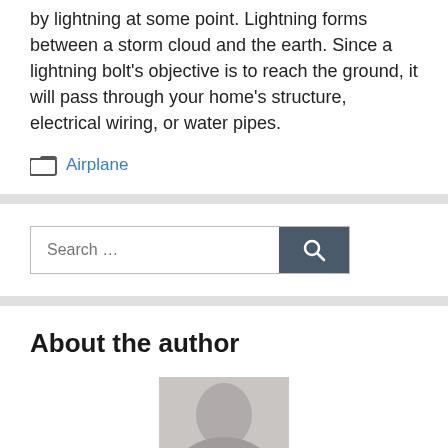by lightning at some point. Lightning forms between a storm cloud and the earth. Since a lightning bolt's objective is to reach the ground, it will pass through your home's structure, electrical wiring, or water pipes.
Airplane
[Figure (screenshot): Search bar with text 'Search …' and a dark blue search button with magnifying glass icon]
About the author
[Figure (photo): Partial photo of a person's head/face, cropped at bottom of page]